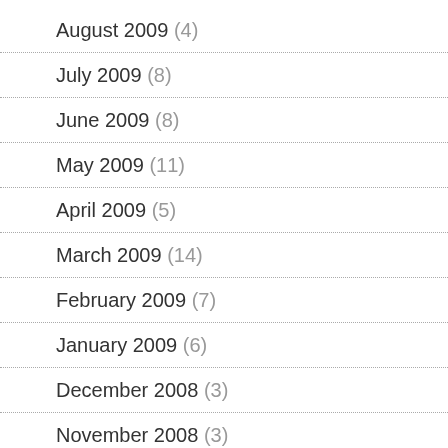August 2009 (4)
July 2009 (8)
June 2009 (8)
May 2009 (11)
April 2009 (5)
March 2009 (14)
February 2009 (7)
January 2009 (6)
December 2008 (3)
November 2008 (3)
October 2008 (3)
September 2008 (5)